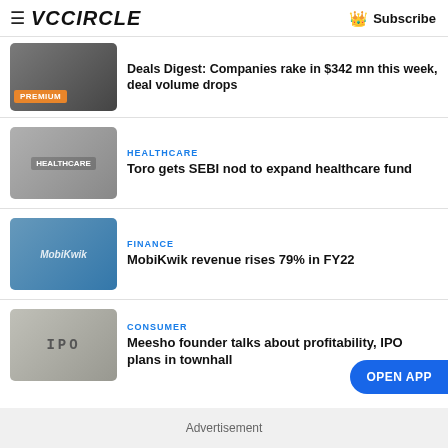VCCircle — Subscribe
Deals Digest: Companies rake in $342 mn this week, deal volume drops
HEALTHCARE — Toro gets SEBI nod to expand healthcare fund
FINANCE — MobiKwik revenue rises 79% in FY22
CONSUMER — Meesho founder talks about profitability, IPO plans in townhall
OPEN APP
Advertisement